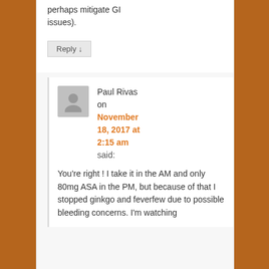perhaps mitigate GI issues).
Reply ↓
Paul Rivas on November 18, 2017 at 2:15 am said:
You're right ! I take it in the AM and only 80mg ASA in the PM, but because of that I stopped ginkgo and feverfew due to possible bleeding concerns. I'm watching